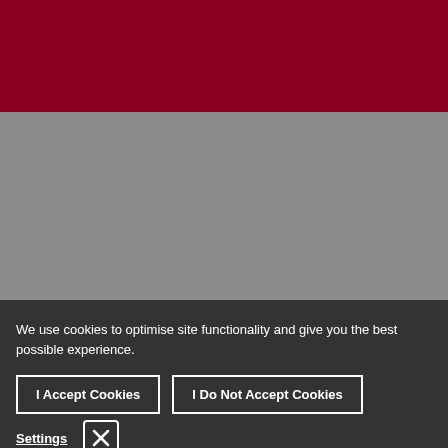[Figure (other): Dark red/maroon colored header bar at the top of the page]
[Figure (other): Gray colored middle section/bar]
We use cookies to optimise site functionality and give you the best possible experience.
I Accept Cookies
I Do Not Accept Cookies
Settings